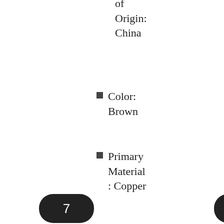of Origin: China
Color: Brown
Primary Material: Copper
[Figure (screenshot): View on eBay button - grey rectangle with border]
Read more
7
4